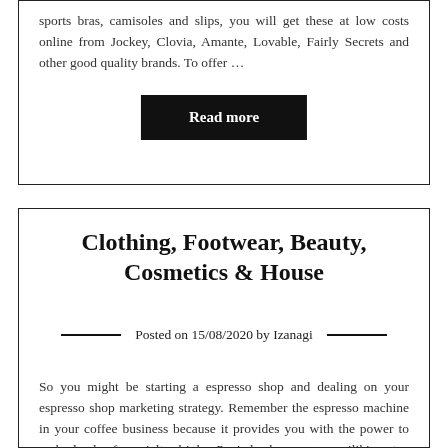sports bras, camisoles and slips, you will get these at low costs online from Jockey, Clovia, Amante, Lovable, Fairly Secrets and other good quality brands. To offer ...
Read more
Clothing, Footwear, Beauty, Cosmetics & House
Posted on 15/08/2020 by Izanagi
So you might be starting a espresso shop and dealing on your espresso shop marketing strategy. Remember the espresso machine in your coffee business because it provides you with the power to make loads of specialty drinks. Penjadwalan yang memiliki urutan yang sama atas